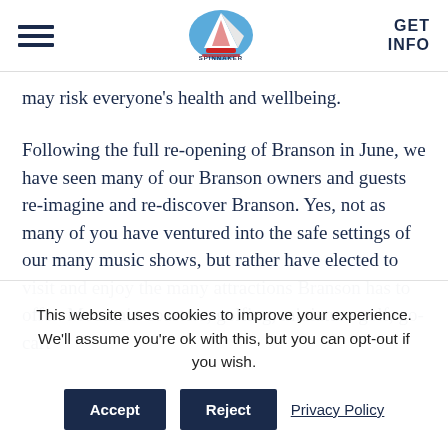Spinnaker Resorts — Navigation bar with hamburger menu, logo, and GET INFO link
may risk everyone's health and wellbeing.
Following the full re-opening of Branson in June, we have seen many of our Branson owners and guests re-imagine and re-discover Branson. Yes, not as many of you have ventured into the safe settings of our many music shows, but rather have elected to visit and enjoy the many attractions Branson has to offer. Mountain coasters, golfing, miniature golf, go-cart
This website uses cookies to improve your experience. We'll assume you're ok with this, but you can opt-out if you wish.
Accept  Reject  Privacy Policy